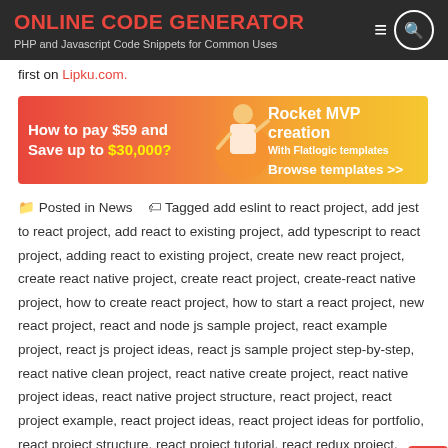ONLINE CODE GENERATOR
PHP and Javascript Code Snippets for Common Uses
first on Lipku.com.
[Figure (infographic): Banner advertisement: How to pay $59 and Save up to $30,000? Rocket MVP creation With Flatlogic templates Browse templates >>]
Posted in News   Tagged add eslint to react project, add jest to react project, add react to existing project, add typescript to react project, adding react to existing project, create new react project, create react native project, create react project, create-react native project, how to create react project, how to start a react project, new react project, react and node js sample project, react example project, react js project ideas, react js sample project step-by-step, react native clean project, react native create project, react native project ideas, react native project structure, react project, react project example, react project ideas, react project ideas for portfolio, react project structure, react project tutorial, react redux project, react starter project, react-